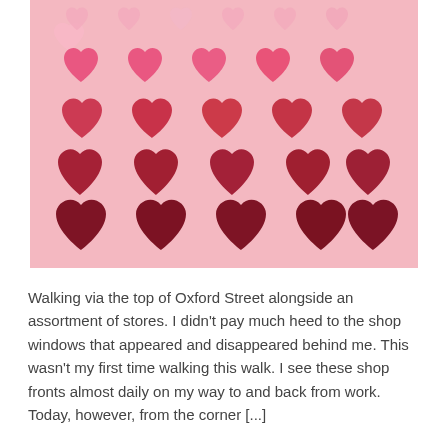[Figure (photo): A photo on a pink background showing rows of crocheted hearts arranged in a gradient from light pink at the top to deep dark red/crimson at the bottom. Row 1 (top): 5 small light pink crocheted hearts. Row 2: 5 medium pink-red crocheted hearts. Row 3: 5 larger hot pink/red crocheted hearts. Row 4: 5 large dark red crocheted hearts. Row 5 (bottom): 5 large very dark red/crimson crocheted hearts.]
Walking via the top of Oxford Street alongside an assortment of stores. I didn't pay much heed to the shop windows that appeared and disappeared behind me. This wasn't my first time walking this walk. I see these shop fronts almost daily on my way to and back from work. Today, however, from the corner [...]